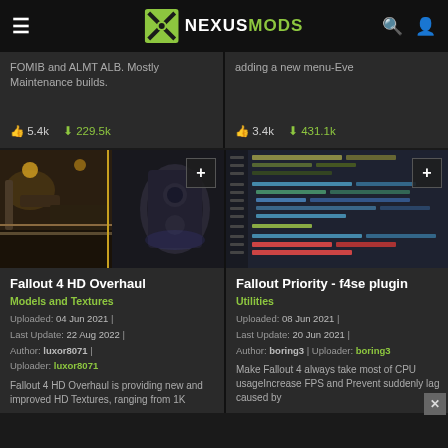NexusMods header navigation
FOMIB and FxFis. Mostly Maintenance builds.
adding a new menu-Eve
5.4k  229.5k
3.4k  431.1k
[Figure (photo): Fallout 4 HD Overhaul mod thumbnail showing industrial interior environment]
[Figure (screenshot): Fallout Priority f4se plugin mod thumbnail showing code/script editor]
Fallout 4 HD Overhaul
Models and Textures
Uploaded: 04 Jun 2021 | Last Update: 22 Aug 2022 | Author: luxor8071 | Uploader: luxor8071
Fallout 4 HD Overhaul is providing new and improved HD Textures, ranging from 1K
Fallout Priority - f4se plugin
Utilities
Uploaded: 08 Jun 2021 | Last Update: 20 Jun 2021 | Author: boring3 | Uploader: boring3
Make Fallout 4 always take most of CPU usageIncrease FPS and Prevent suddenly lag caused by